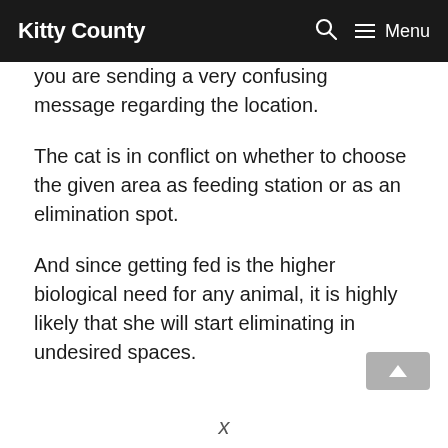Kitty County  🔍  ≡ Menu
you are sending a very confusing message regarding the location.
The cat is in conflict on whether to choose the given area as feeding station or as an elimination spot.
And since getting fed is the higher biological need for any animal, it is highly likely that she will start eliminating in undesired spaces.